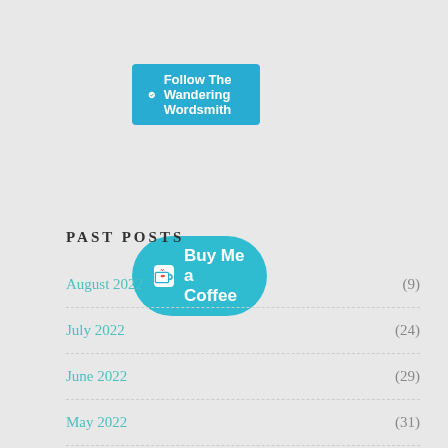[Figure (other): WordPress Follow button with cyan background reading 'Follow The Wandering Wordsmith']
[Figure (other): Buy Me a Coffee button with cyan/teal background and coffee cup icon]
PAST POSTS
August 2022 (9)
July 2022 (24)
June 2022 (29)
May 2022 (31)
April 2022 (30)